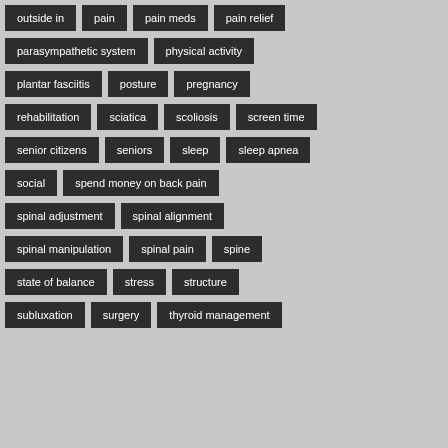[Figure (infographic): A tag cloud / keyword list showing medical and chiropractic topics as dark rectangular badge labels on a light gray background with a faint human spine/body image behind. Tags include: outside in, pain, pain meds, pain relief, parasympathetic system, physical activity, plantar fasciitis, posture, pregnancy, rehabilitation, sciatica, scoliosis, screen time, senior citizens, seniors, sleep, sleep apnea, social, spend money on back pain, spinal adjustment, spinal alignment, spinal manipulation, spinal pain, spine, state of balance, stress, structure, subluxation, surgery, thyroid management.]